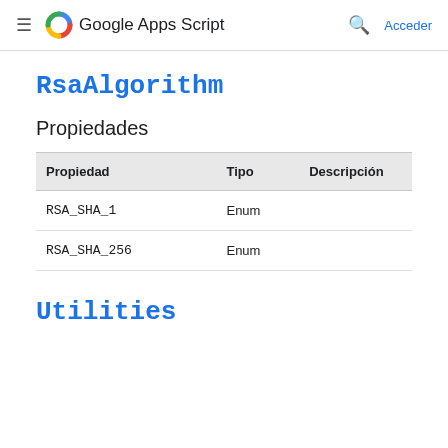≡ Google Apps Script  🔍 Acceder
RsaAlgorithm
Propiedades
| Propiedad | Tipo | Descripción |
| --- | --- | --- |
| RSA_SHA_1 | Enum |  |
| RSA_SHA_256 | Enum |  |
Utilities